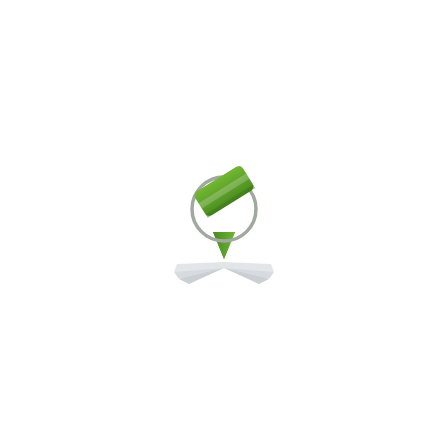[Figure (logo): A stylized logo combining a tilted wine glass with a map pin/location marker shape. The top portion consists of a green rounded rectangle (eraser-like cap) tilted diagonally, overlapping a circular bowl shape outlined in grey. Below the bowl tapers to a green downward-pointing triangle (like a map pin point). At the base, an open grey book or map with fanned pages radiates outward from the pin point.]